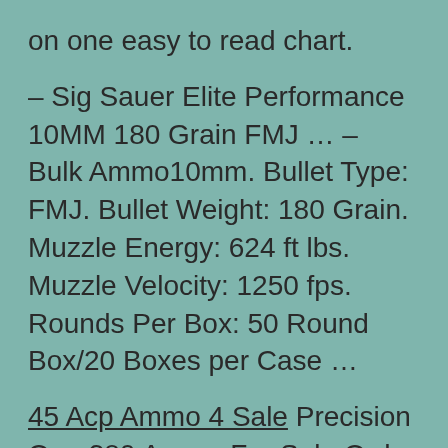on one easy to read chart.
– Sig Sauer Elite Performance 10MM 180 Grain FMJ … – Bulk Ammo10mm. Bullet Type: FMJ. Bullet Weight: 180 Grain. Muzzle Energy: 624 ft lbs. Muzzle Velocity: 1250 fps. Rounds Per Box: 50 Round Box/20 Boxes per Case …
45 Acp Ammo 4 Sale Precision One 380 Ammo For Sale Order In Stock G2 RIP 380 ACP 62 Grain Hollow Point Ammo at the Ammunition Supply Company. … Price / Box: $36.40 … average (+/- 10%); 7 Separate Wound Channels; Precision Machined; Solid Copper /